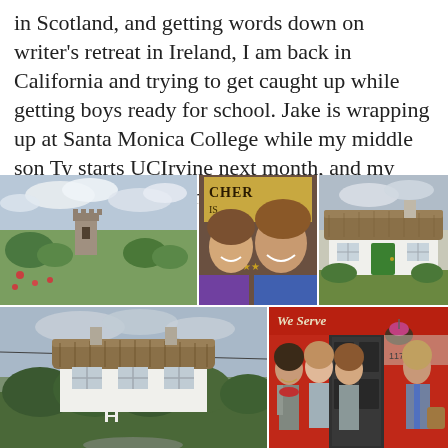in Scotland, and getting words down on writer's retreat in Ireland, I am back in California and trying to get caught up while getting boys ready for school. Jake is wrapping up at Santa Monica College while my middle son Ty starts UCIrvine next month, and my youngest, Mac, begins 3rd grade.
[Figure (photo): Collage of 5 photos: top-left shows a green landscape with a stone castle ruin; top-center shows two women smiling in front of a sign reading CHERYL; top-right shows a white thatched-roof cottage with a green door; bottom-left shows a white farmhouse with thatched roof and hedges; bottom-right shows four women standing in front of a red storefront with 'We Serve' sign.]